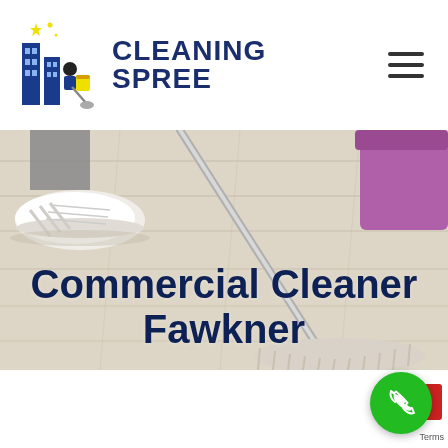[Figure (logo): Cleaning Spree logo with stylized buildings and cleaning equipment icon in blue and yellow, with text CLEANING SPREE in dark navy bold font]
[Figure (photo): Person in white sneakers mopping a light wood floor with a flat mop, purple cleaning bucket visible in top right corner]
Commercial Cleaner Fawkner
[Figure (other): Green circular phone call button with white phone handset icon, and a red camera/video icon partially visible to the right]
Terms